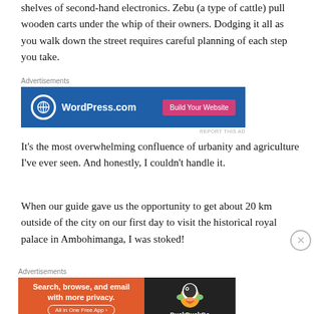shelves of second-hand electronics. Zebu (a type of cattle) pull wooden carts under the whip of their owners. Dodging it all as you walk down the street requires careful planning of each step you take.
[Figure (screenshot): WordPress.com advertisement banner with blue background, WordPress logo on left, and pink 'Build Your Website' button on right. Labeled 'Advertisements' above.]
It’s the most overwhelming confluence of urbanity and agriculture I’ve ever seen. And honestly, I couldn’t handle it.
When our guide gave us the opportunity to get about 20 km outside of the city on our first day to visit the historical royal palace in Ambohimanga, I was stoked!
[Figure (screenshot): DuckDuckGo advertisement banner with orange left section reading 'Search, browse, and email with more privacy. All in One Free App' and dark right section with DuckDuckGo duck logo. Labeled 'Advertisements' above.]